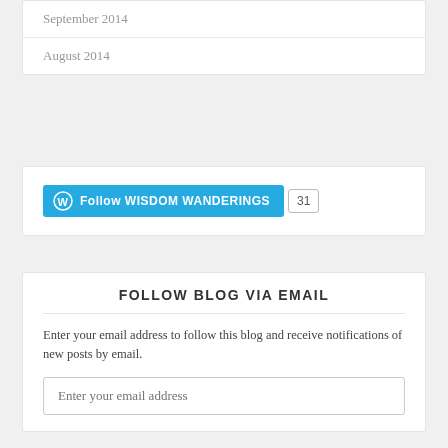September 2014
August 2014
[Figure (other): WordPress Follow WISDOM WANDERINGS button with follower count 31]
FOLLOW BLOG VIA EMAIL
Enter your email address to follow this blog and receive notifications of new posts by email.
Enter your email address